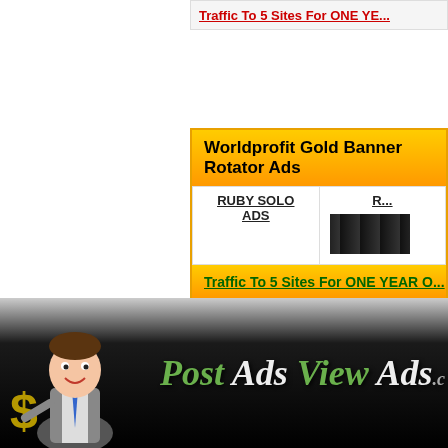Traffic To 5 Sites For ONE YE...
Worldprofit Gold Banner Rotator Ads
| RUBY SOLO ADS | R... |
| --- | --- |
|  | [image] |
Traffic To 5 Sites For ONE YEAR O...
© Copyright ...
Member Login | How It Works | Terms and C...
[Figure (logo): Post Ads View Ads logo with businessman mascot holding dollar sign on dark background]